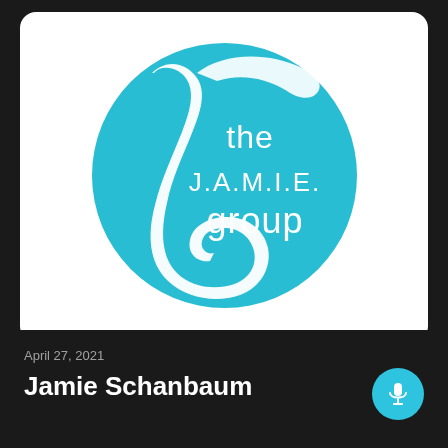[Figure (logo): The J.A.M.I.E. group logo: a teal/cyan circle with a decorative white script letter 'J' on the left and white sans-serif text reading 'the J.A.M.I.E. group' on the right, displayed on a white rounded-rectangle card background.]
April 27, 2021
Jamie Schanbaum